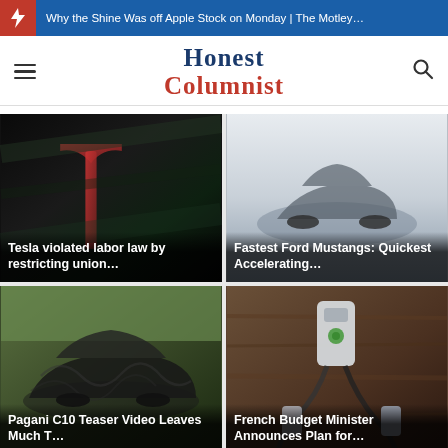Why the Shine Was off Apple Stock on Monday | The Motley…
Honest Columnist
[Figure (photo): Tesla logo close-up on dark car body with reflection]
Tesla violated labor law by restricting union…
[Figure (photo): Ford Mustang on track, grey gradient background]
Fastest Ford Mustangs: Quickest Accelerating…
[Figure (photo): Pagani C10 camouflaged prototype car on grass]
Pagani C10 Teaser Video Leaves Much T…
[Figure (photo): EV charging cables and wall charger on wooden surface]
French Budget Minister Announces Plan for…